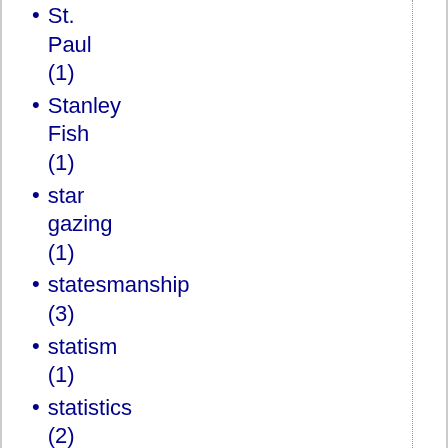St. Paul (1)
Stanley Fish (1)
star gazing (1)
statesmanship (3)
statism (1)
statistics (2)
Statues (1)
Steelers (1)
stem cells (1)
Steph Curry (1)